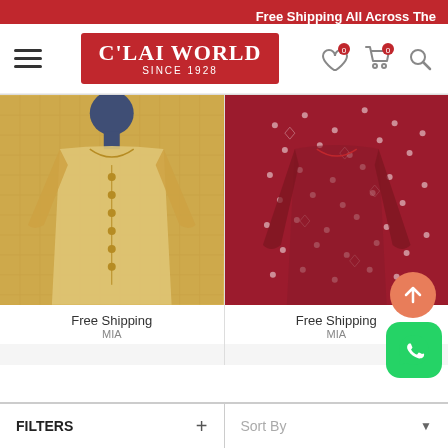Free Shipping All Across The
[Figure (logo): C'lai World Since 1928 logo on red background]
[Figure (photo): Yellow chequered kurti on mannequin with gold button detail]
[Figure (photo): Dark red floral printed kurti on mannequin]
Free Shipping
Free Shipping
FILTERS +
Sort By